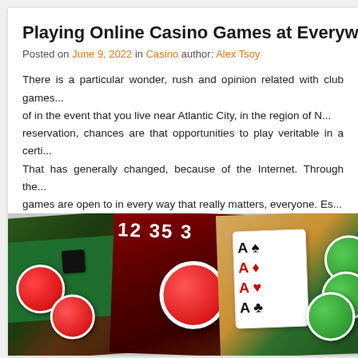Playing Online Casino Games at Everywhere and Any...
Posted on June 9, 2022 in Casino author: Alex Tsoy
There is a particular wonder, rush and opinion related with club games... of in the event that you live near Atlantic City, in the region of N... reservation, chances are that opportunities to play veritable in a certi... That has generally changed, because of the Internet. Through the... games are open to in every way that really matters, everyone. Es... gambling club looks like some other internet based business it is a... interpretation of an ordinary actual association. Moreover called virtu... sites engage people to put down bets on standard games, and incorpo...
[Figure (photo): Casino collage image showing roulette table, red and green poker chips, playing cards with aces, and dice on a dark background]